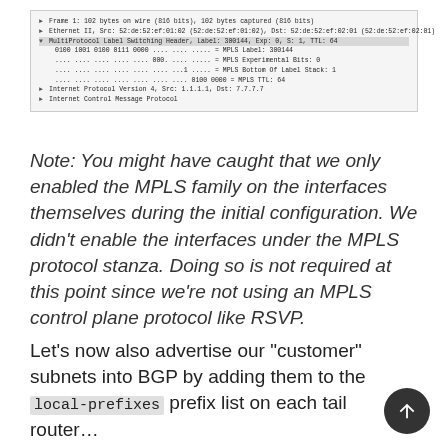[Figure (screenshot): Wireshark packet capture showing Frame 1, Ethernet II, MultiProtocol Label Switching Header with MPLS Label 300144, Internet Protocol Version 4, and Internet Control Message Protocol]
Note: You might have caught that we only enabled the MPLS family on the interfaces themselves during the initial configuration. We didn’t enable the interfaces under the MPLS protocol stanza. Doing so is not required at this point since we’re not using an MPLS control plane protocol like RSVP.
Let’s now also advertise our “customer” subnets into BGP by adding them to the local-prefixes prefix list on each tail router…